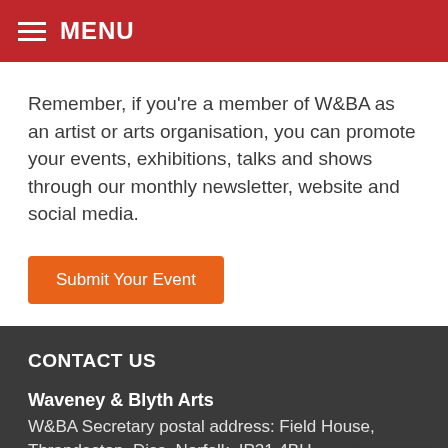MENU
Remember, if you’re a member of W&BA as an artist or arts organisation, you can promote your events, exhibitions, talks and shows through our monthly newsletter, website and social media.
Submit Your Event
CONTACT US
Waveney & Blyth Arts
W&BA Secretary postal address: Field House, Thrandeston, Diss, Norfolk, IP21 4BU
Get in contact via email